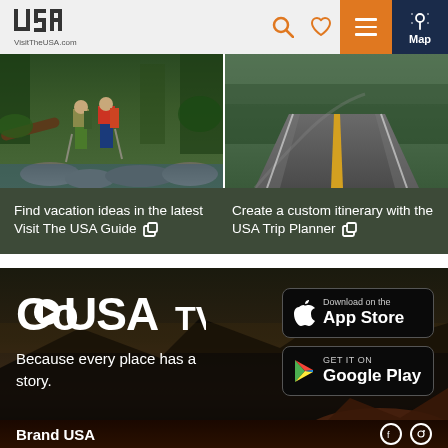VisitTheUSA.com — navigation header with logo, search, heart, menu, and map icons
[Figure (photo): Two hikers walking through a rocky stream in a lush green forest]
[Figure (photo): Winding road through green trees, aerial/highway view with yellow center line]
Find vacation ideas in the latest Visit The USA Guide [external link icon]
Create a custom itinerary with the USA Trip Planner [external link icon]
[Figure (logo): GoUSA TV logo with play button circle in the letter O]
Because every place has a story.
[Figure (screenshot): Download on the App Store button]
[Figure (screenshot): GET IT ON Google Play button]
Brand USA